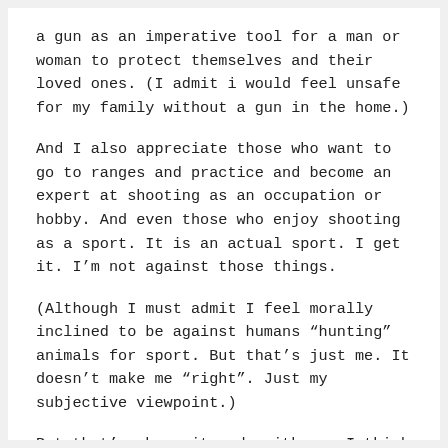a gun as an imperative tool for a man or woman to protect themselves and their loved ones. (I admit i would feel unsafe for my family without a gun in the home.)
And I also appreciate those who want to go to ranges and practice and become an expert at shooting as an occupation or hobby. And even those who enjoy shooting as a sport. It is an actual sport. I get it. I'm not against those things.
(Although I must admit I feel morally inclined to be against humans “hunting” animals for sport. But that’s just me. It doesn’t make me “right”. Just my subjective viewpoint.)
But that’s where it ends with me. I think we’ve